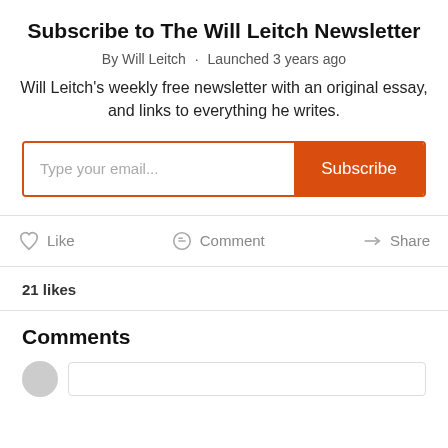Subscribe to The Will Leitch Newsletter
By Will Leitch · Launched 3 years ago
Will Leitch's weekly free newsletter with an original essay, and links to everything he writes.
[Figure (screenshot): Email subscription form with 'Type your email...' input field and orange 'Subscribe' button]
Like   Comment   Share
21 likes
Comments